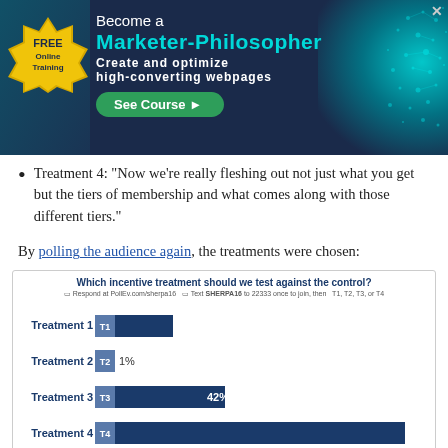[Figure (infographic): Banner advertisement for FREE Online Training: Become a Marketer-Philosopher. Create and optimize high-converting webpages. See Course button. Dark navy background with teal brain graphic on right and gold seal badge on left.]
Treatment 4: "Now we're really fleshing out not just what you get but the tiers of membership and what comes along with those different tiers."
By polling the audience again, the treatments were chosen:
[Figure (bar-chart): Which incentive treatment should we test against the control?]